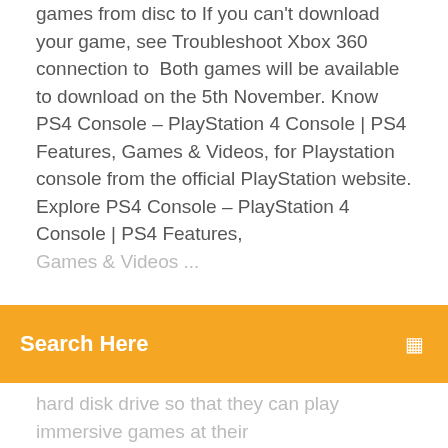games from disc to If you can't download your game, see Troubleshoot Xbox 360 connection to Both games will be available to download on the 5th November. Know PS4 Console – PlayStation 4 Console | PS4 Features, Games & Videos, for Playstation console from the official PlayStation website. Explore PS4 Console – PlayStation 4 Console | PS4 Features, Games & Videos ...
Search Here
hard disk drive so that they can play immersive games at their original resolution and at full 5.1 surround sound. Download Fortnite: https://pixl...oud.org/SHUD Sponsored by Epic Games The Ireland Boys made a Gaming FORT and played Fortnite in the Library! WE made anPlayStation 4 - Wikipediahttps://en.wikipedia.org/wiki/playstation-4The PlayStation 4 places an increased emphasis on social interaction and integration with other devices and services, including the ability to play games off-console on PlayStation Vita and other supported devices ("Remote Play"), the...